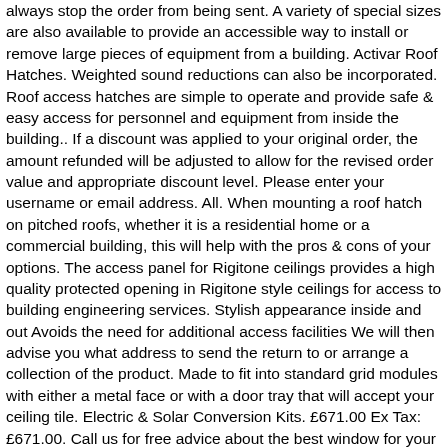always stop the order from being sent. A variety of special sizes are also available to provide an accessible way to install or remove large pieces of equipment from a building. Activar Roof Hatches. Weighted sound reductions can also be incorporated. Roof access hatches are simple to operate and provide safe & easy access for personnel and equipment from inside the building.. If a discount was applied to your original order, the amount refunded will be adjusted to allow for the revised order value and appropriate discount level. Please enter your username or email address. All. When mounting a roof hatch on pitched roofs, whether it is a residential home or a commercial building, this will help with the pros & cons of your options. The access panel for Rigitone ceilings provides a high quality protected opening in Rigitone style ceilings for access to building engineering services. Stylish appearance inside and out Avoids the need for additional access facilities We will then advise you what address to send the return to or arrange a collection of the product. Made to fit into standard grid modules with either a metal face or with a door tray that will accept your ceiling tile. Electric & Solar Conversion Kits. £671.00 Ex Tax: £671.00. Call us for free advice about the best window for your installation. Returns should be made within 30 days and in an adequate condition and suitably packaged for transit. Most roof hatches are made of solid metal and are quite heavy, especially for workers trying to access the roof and having to use one hand unlocking the hatch while the other pushes the lid open. A range of Polycarbonate